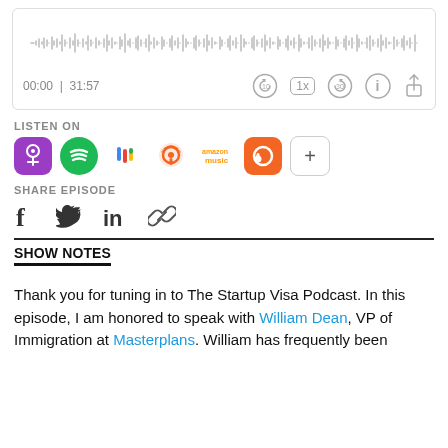[Figure (screenshot): Audio player widget with waveform display showing 00:00 | 31:57, playback controls including back 10s, speed 1x, forward 30s, info and share buttons]
LISTEN ON
[Figure (infographic): Row of podcast platform icons: Apple Podcasts (purple), Spotify (green), Google Podcasts (colorful dots), Overcast (orange), Amazon Music (orange/white), Podchaser (orange), and a plus button]
SHARE EPISODE
[Figure (infographic): Social share icons: Facebook (f), Twitter (bird), LinkedIn (in), and link/chain icon]
SHOW NOTES
Thank you for tuning in to The Startup Visa Podcast. In this episode, I am honored to speak with William Dean, VP of Immigration at Masterplans. William has frequently been